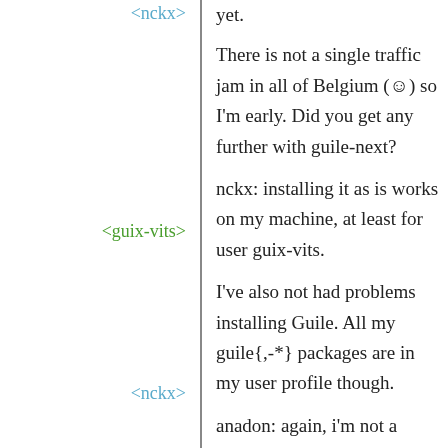yet.
<nckx>
There is not a single traffic jam in all of Belgium (☺) so I'm early. Did you get any further with guile-next?
<guix-vits>
nckx: installing it as is works on my machine, at least for user guix-vits.
<nckx>
I've also not had problems installing Guile. All my guile{,-*} packages are in my user profile though.
<guix-vits>
anadon: again, i'm not a